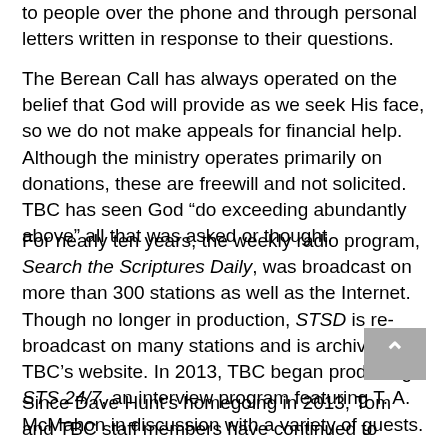to people over the phone and through personal letters written in response to their questions.
The Berean Call has always operated on the belief that God will provide as we seek His face, so we do not make appeals for financial help. Although the ministry operates primarily on donations, these are freewill and not solicited. TBC has seen God “do exceeding abundantly above” all that was asked or thought.
For nearly ten years, the weekly radio program, Search the Scriptures Daily, was broadcast on more than 300 stations as well as the Internet. Though no longer in production, STSD is re-broadcast on many stations and is archived on TBC’s website. In 2013, TBC began producing STS 24/7, an interview program featuring T. A. McMahon in discussion with a variety of guests.
Since Dave Hunt’s homegoing in 2013, Tom and TBC staff members have continued to supply the articles and